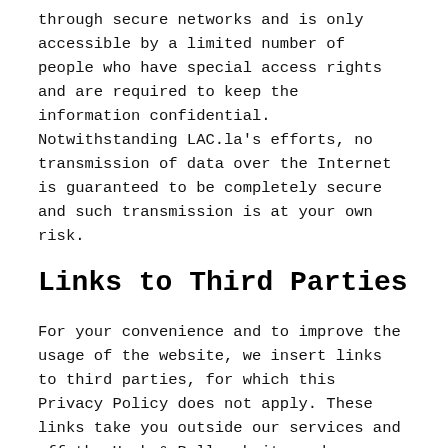through secure networks and is only accessible by a limited number of people who have special access rights and are required to keep the information confidential. Notwithstanding LAC.la's efforts, no transmission of data over the Internet is guaranteed to be completely secure and such transmission is at your own risk.
Links to Third Parties
For your convenience and to improve the usage of the website, we insert links to third parties, for which this Privacy Policy does not apply. These links take you outside our services and off the Hawk & Bull website and are beyond our control. This includes links from parties that may use Hawk & Bull logos as part of a co-branding agreement or sell Hawk & Bull products. The sites you can link to have their own separate Privacy Policy and although we seek to protect the integrity of our site, Hawk & Bull is not responsible